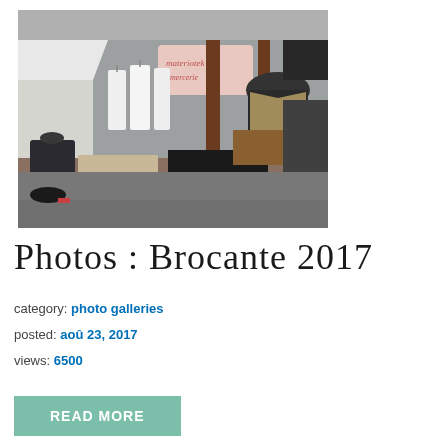[Figure (photo): Outdoor flea market / brocante scene with mannequin dressed in black jacket, white garments hanging on racks, sewing machines and accessories on tables, and a sign reading 'materiotek mercerie' in the background.]
Photos : Brocante 2017
category: photo galleries
posted: aoû 23, 2017
views: 6500
READ MORE